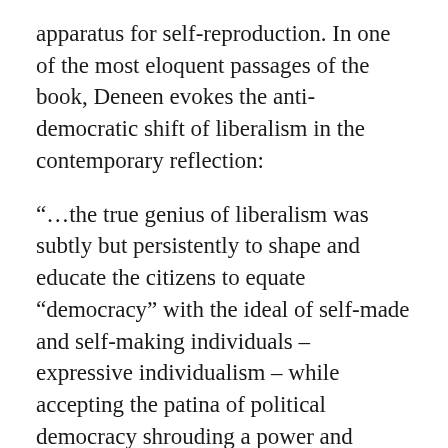apparatus for self-reproduction. In one of the most eloquent passages of the book, Deneen evokes the anti-democratic shift of liberalism in the contemporary reflection:
“…the true genius of liberalism was subtly but persistently to shape and educate the citizens to equate “democracy” with the ideal of self-made and self-making individuals – expressive individualism – while accepting the patina of political democracy shrouding a power and distance government whose deeper legitimacy arises from enlarging the opportunity and experience of expressive individualism…”